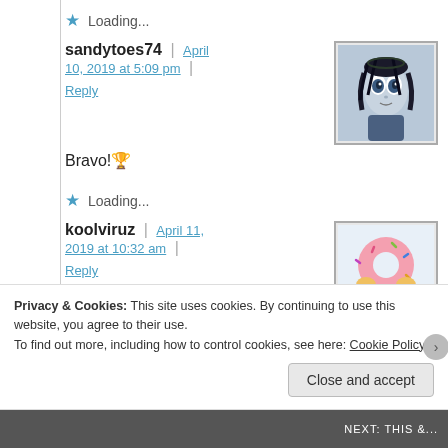★ Loading...
sandytoes74 | April 10, 2019 at 5:09 pm | Reply
[Figure (illustration): Avatar image of a cartoon animated Corpse Bride character with dark hair and pale skin]
Bravo! 🏆
★ Loading...
koolviruz | April 11, 2019 at 10:32 am | Reply
[Figure (illustration): Avatar image of Homer Simpson holding a pink donut]
gold?? I don't recall
Privacy & Cookies: This site uses cookies. By continuing to use this website, you agree to their use. To find out more, including how to control cookies, see here: Cookie Policy
Close and accept